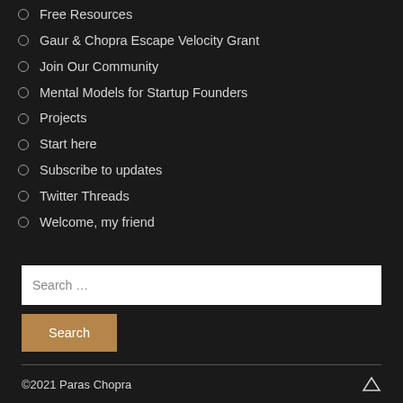Free Resources
Gaur & Chopra Escape Velocity Grant
Join Our Community
Mental Models for Startup Founders
Projects
Start here
Subscribe to updates
Twitter Threads
Welcome, my friend
Search …
©2021 Paras Chopra